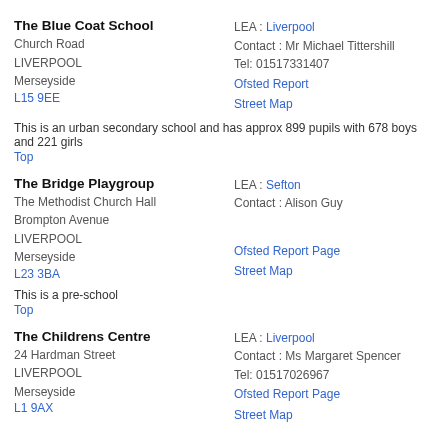The Blue Coat School
Church Road
LIVERPOOL
Merseyside
L15 9EE
LEA : Liverpool
Contact : Mr Michael Tittershill
Tel: 01517331407
Ofsted Report
Street Map
This is an urban secondary school and has approx 899 pupils with 678 boys and 221 girls
Top
The Bridge Playgroup
The Methodist Church Hall
Brompton Avenue
LIVERPOOL
Merseyside
L23 3BA
LEA : Sefton
Contact : Alison Guy
Ofsted Report Page
Street Map
This is a pre-school
Top
The Childrens Centre
24 Hardman Street
LIVERPOOL
Merseyside
L1 9AX
LEA : Liverpool
Contact : Ms Margaret Spencer
Tel: 01517026967
Ofsted Report Page
Street Map